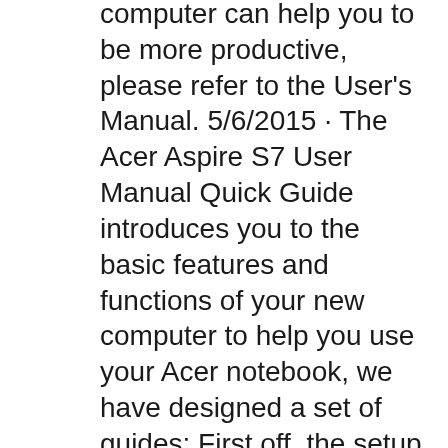computer can help you to be more productive, please refer to the User's Manual. 5/6/2015 · The Acer Aspire S7 User Manual Quick Guide introduces you to the basic features and functions of your new computer to help you use your Acer notebook, we have designed a set of guides: First off, the setup poster helps you get started with setting up your computer. For more on how your computer can help you to be more productive, please refer to the User's Manual.
10/31/2012 · Detailed review of the Acer Aspire S7 391-73514G25aws (Intel Core i7 3517U, Intel HD Graphics 4000, 13.3", 1,3 kg) with various benchmarks,